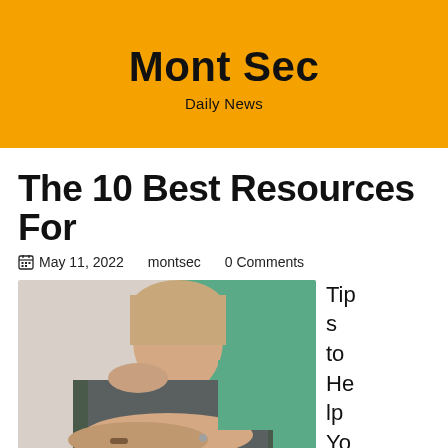Mont Sec
Daily News
The 10 Best Resources For
May 11, 2022   montsec   0 Comments
[Figure (photo): A woman in a grey top with arms crossed being embraced from behind by a person in a teal/green top]
Tips to Help You Ch